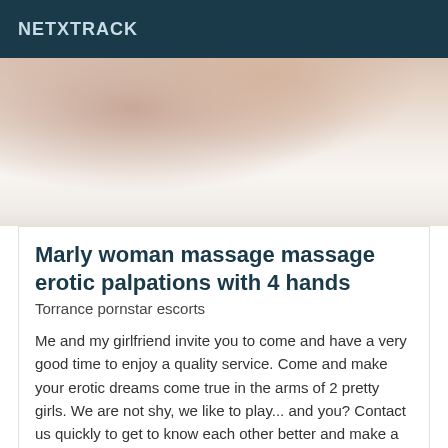NETXTRACK
[Figure (photo): Close-up photo of white bedsheets with a person lying on a bed, soft lighting]
Marly woman massage massage erotic palpations with 4 hands
Torrance pornstar escorts
Me and my girlfriend invite you to come and have a very good time to enjoy a quality service. Come and make your erotic dreams come true in the arms of 2 pretty girls. We are not shy, we like to play... and you? Contact us quickly to get to know each other better and make a very naughty appointment...
[Figure (photo): Partial photo of a person with dark hair, bottom of page, with VIP badge overlay]